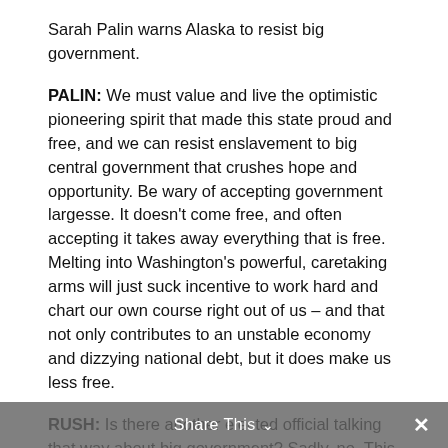Sarah Palin warns Alaska to resist big government.
PALIN: We must value and live the optimistic pioneering spirit that made this state proud and free, and we can resist enslavement to big central government that crushes hope and opportunity. Be wary of accepting government largesse. It doesn't come free, and often accepting it takes away everything that is free. Melting into Washington's powerful, caretaking arms will just suck incentive to work hard and chart our own course right out of us – and that not only contributes to an unstable economy and dizzying national debt, but it does make us less free.
RUSH: Is there another elected official talking that way about big government? Sadly, no. This next bite is one of my favorites.
PALIN: Please, let's not start believing that government is the answer. It can't make you happy or healthy or wealthy or wise. What can? It is the wisdom of the people and our families and our small businesses and industrious
Share This